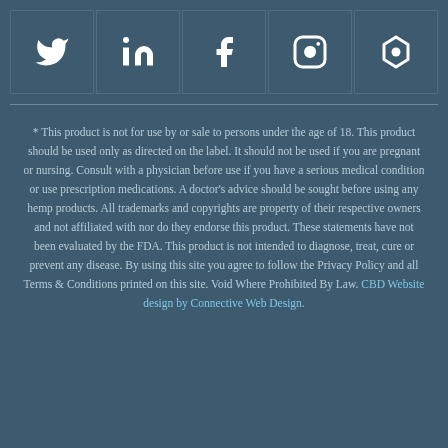[Figure (other): Row of five social media icons: Twitter, LinkedIn, Facebook, Instagram, and a hexagon/shield icon, each in a square dark tile]
* This product is not for use by or sale to persons under the age of 18. This product should be used only as directed on the label. It should not be used if you are pregnant or nursing. Consult with a physician before use if you have a serious medical condition or use prescription medications. A doctor's advice should be sought before using any hemp products. All trademarks and copyrights are property of their respective owners and not affiliated with nor do they endorse this product. These statements have not been evaluated by the FDA. This product is not intended to diagnose, treat, cure or prevent any disease. By using this site you agree to follow the Privacy Policy and all Terms & Conditions printed on this site. Void Where Prohibited By Law. CBD Website design by Connective Web Design.